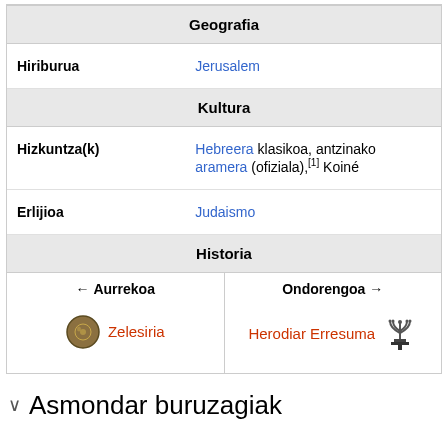| Geografia |  |
| Hiriburua | Jerusalem |
| Kultura |  |
| Hizkuntza(k) | Hebreera klasikoa, antzinako aramera (ofiziala),[1] Koiné |
| Erlijioa | Judaismo |
| Historia |  |
| ← Aurrekoa / Ondorengoa → | Zelesiria / Herodiar Erresuma |
Asmondar buruzagiak